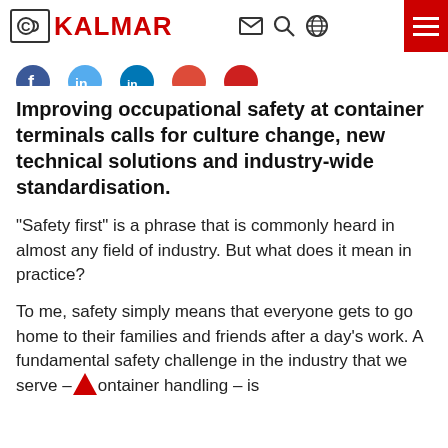KALMAR
[Figure (logo): Social media icons row: Facebook, Twitter, LinkedIn, Google+, YouTube (tops of circular icons visible)]
Improving occupational safety at container terminals calls for culture change, new technical solutions and industry-wide standardisation.
“Safety first” is a phrase that is commonly heard in almost any field of industry. But what does it mean in practice?
To me, safety simply means that everyone gets to go home to their families and friends after a day’s work. A fundamental safety challenge in the industry that we serve – container handling – is